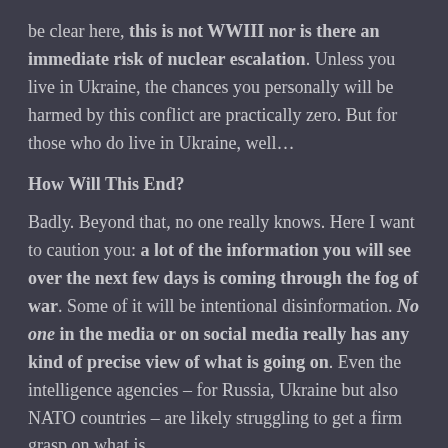be clear here, this is not WWIII nor is there an immediate risk of nuclear escalation. Unless you live in Ukraine, the chances you personally will be harmed by this conflict are practically zero. But for those who do live in Ukraine, well…
How Will This End?
Badly. Beyond that, no one really knows. Here I want to caution you: a lot of the information you will see over the next few days is coming through the fog of war. Some of it will be intentional disinformation. No one in the media or on social media really has any kind of precise view of what is going on. Even the intelligence agencies – for Russia, Ukraine but also NATO countries – are likely struggling to get a firm grasp on what is